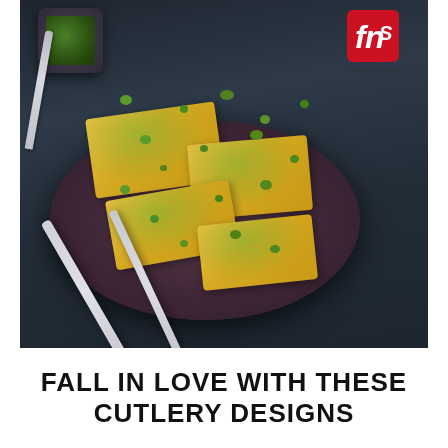[Figure (photo): Overhead photo of dhokla (Indian savory snack) pieces garnished with green chutney on a dark plate, with fork and knife laid on top, on a dark wooden background. A small cup of green chutney is visible top left. FnS Premium Dining logo in top right corner.]
FALL IN LOVE WITH THESE CUTLERY DESIGNS